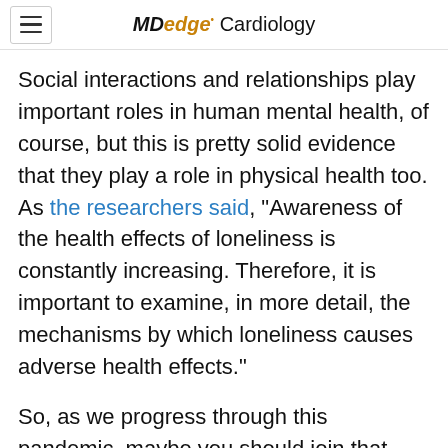MDedge Cardiology
Social interactions and relationships play important roles in human mental health, of course, but this is pretty solid evidence that they play a role in physical health too. As the researchers said, “Awareness of the health effects of loneliness is constantly increasing. Therefore, it is important to examine, in more detail, the mechanisms by which loneliness causes adverse health effects.”
So, as we progress through this pandemic, maybe you should join that social group on Facebook? What do you think of effort it